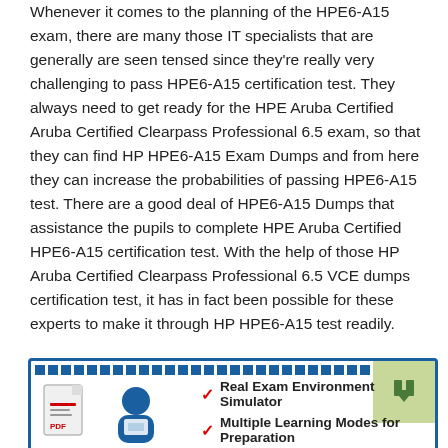Whenever it comes to the planning of the HPE6-A15 exam, there are many those IT specialists that are generally are seen tensed since they're really very challenging to pass HPE6-A15 certification test. They always need to get ready for the HPE Aruba Certified Aruba Certified Clearpass Professional 6.5 exam, so that they can find HP HPE6-A15 Exam Dumps and from here they can increase the probabilities of passing HPE6-A15 test. There are a good deal of HPE6-A15 Dumps that assistance the pupils to complete HPE Aruba Certified HPE6-A15 certification test. With the help of those HP Aruba Certified Clearpass Professional 6.5 VCE dumps certification test, it has in fact been possible for these experts to make it through HP HPE6-A15 test readily.
[Figure (infographic): Banner with dashed blue border, document/PDF icon and person icon on left, two checkmark bullet points: 'Real Exam Environment Simulator' and 'Multiple Learning Modes for Preparation', green corner box with up-arrow icon.]